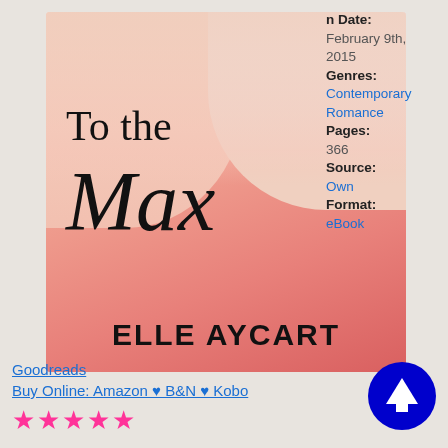[Figure (illustration): Book cover for 'To the Max' by Elle Aycart. Pink/coral gradient background with two people partially visible at top. Title 'To the Max' in serif/script font, author name 'ELLE AYCART' in bold sans-serif at bottom.]
n Date: February 9th, 2015
Genres: Contemporary Romance
Pages: 366
Source: Own
Format: eBook
Goodreads
Buy Online: Amazon ♥ B&N ♥ Kobo
[Figure (other): Five pink star rating icons]